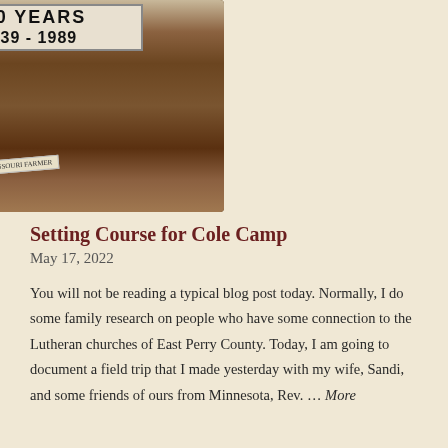[Figure (photo): A display table of antique farm tools, old wrenches, a Missouri Farmer newspaper, vintage books, and a sign reading '150 YEARS 1839 - 1989']
Setting Course for Cole Camp
May 17, 2022
You will not be reading a typical blog post today. Normally, I do some family research on people who have some connection to the Lutheran churches of East Perry County. Today, I am going to document a field trip that I made yesterday with my wife, Sandi, and some friends of ours from Minnesota, Rev. … More